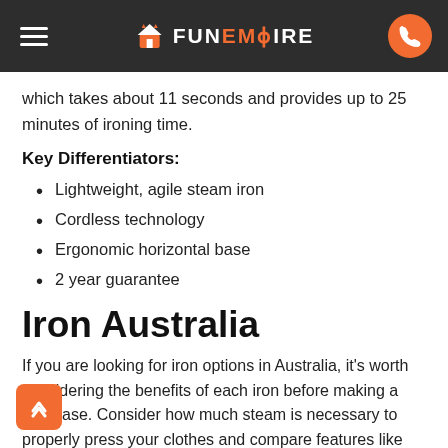FunEmpire
which takes about 11 seconds and provides up to 25 minutes of ironing time.
Key Differentiators:
Lightweight, agile steam iron
Cordless technology
Ergonomic horizontal base
2 year guarantee
Iron Australia
If you are looking for iron options in Australia, it's worth considering the benefits of each iron before making a purchase. Consider how much steam is necessary to properly press your clothes and compare features like cordless technology or variable temperature controls to find an iron that suits your needs best. We've included 8